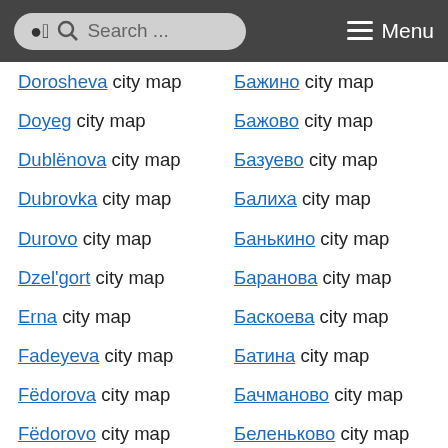Search ... Menu
Dorosheva city map
Doyeg city map
Dublënova city map
Dubrovka city map
Durovo city map
Dzel'gort city map
Erna city map
Fadeyeva city map
Fëdorova city map
Fëdorovo city map
Fedotova city map
Fedotovo city map
Filenka city map
Fokichi city map
Fokina city map
Бажино city map
Бажово city map
Базуево city map
Балиха city map
Банькино city map
Баранова city map
Баскоева city map
Батина city map
Бачманово city map
Беленьково city map
Белоево city map
Беляева city map
Беляево city map
Берёзова city map
Берёзовка city map